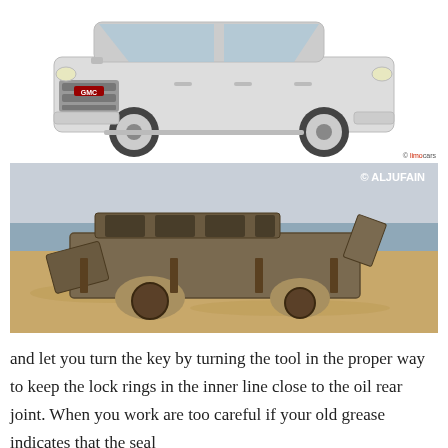[Figure (photo): White GMC Yukon SUV on white background, front three-quarter view]
[Figure (photo): Burned-out wrecked SUV shell sitting in sand on a beach with water in background, © ALJUFAIN watermark]
and let you turn the key by turning the tool in the proper way to keep the lock rings in the inner line close to the oil rear joint. When you work are too careful if your old grease indicates that the seal